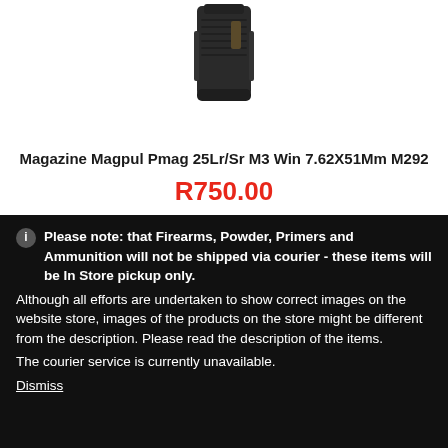[Figure (photo): Photo of a black Magpul PMAG rifle magazine against a white background]
Magazine Magpul Pmag 25Lr/Sr M3 Win 7.62X51Mm M292
R750.00
Please note: that Firearms, Powder, Primers and Ammunition will not be shipped via courier - these items will be In Store pickup only.
Although all efforts are undertaken to show correct images on the website store, images of the products on the store might be different from the description. Please read the description of the items.
The courier service is currently unavailable.
Dismiss